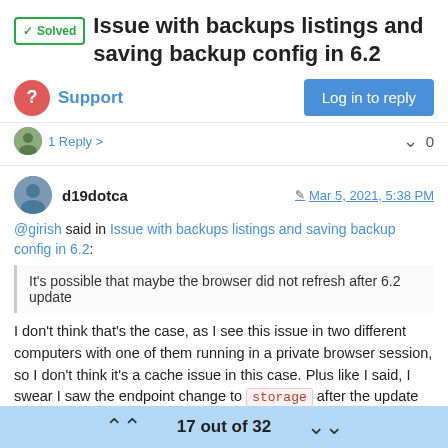✓ Solved  Issue with backups listings and saving backup config in 6.2
Support
Log in to reply
1 Reply >  0
d19dotca  Mar 5, 2021, 5:38 PM
@girish said in Issue with backups listings and saving backup config in 6.2:
It's possible that maybe the browser did not refresh after 6.2 update
I don't think that's the case, as I see this issue in two different computers with one of them running in a private browser session, so I don't think it's a cache issue in this case. Plus like I said, I swear I saw the endpoint change to storage after the update last night. It's only today that it seems to have changed back to s3 and
17 out of 32